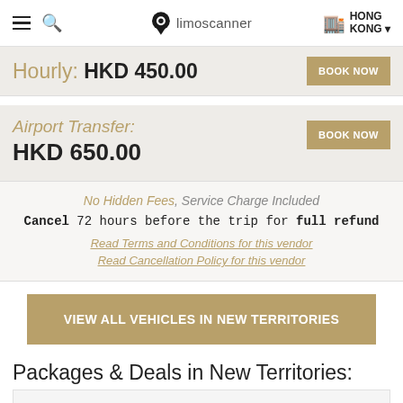limoscanner — HONG KONG
Hourly: HKD 450.00
Airport Transfer: HKD 650.00
No Hidden Fees, Service Charge Included
Cancel 72 hours before the trip for full refund
Read Terms and Conditions for this vendor
Read Cancellation Policy for this vendor
VIEW ALL VEHICLES IN NEW TERRITORIES
Packages & Deals in New Territories: